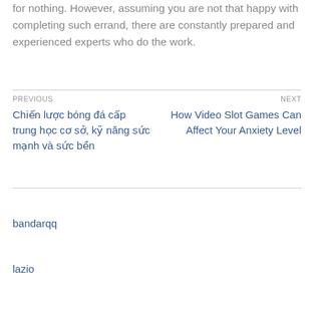for nothing. However, assuming you are not that happy with completing such errand, there are constantly prepared and experienced experts who do the work.
PREVIOUS
Chiến lược bóng đá cấp trung học cơ sở, kỹ năng sức mạnh và sức bền
NEXT
How Video Slot Games Can Affect Your Anxiety Level
bandarqq
lazio